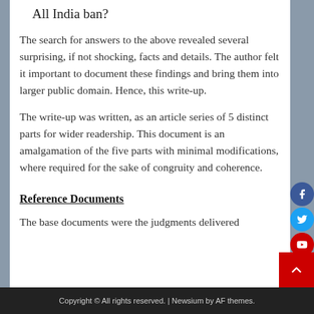All India ban?
The search for answers to the above revealed several surprising, if not shocking, facts and details. The author felt it important to document these findings and bring them into larger public domain. Hence, this write-up.
The write-up was written, as an article series of 5 distinct parts for wider readership. This document is an amalgamation of the five parts with minimal modifications, where required for the sake of congruity and coherence.
Reference Documents
The base documents were the judgments delivered
Copyright © All rights reserved. | Newsium by AF themes.